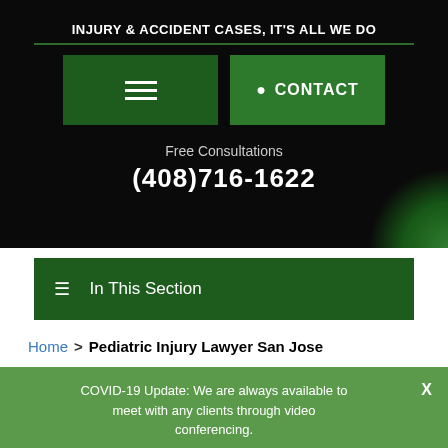INJURY & ACCIDENT CASES, IT'S ALL WE DO
Menu | CONTACT
Free Consultations
(408)716-1622
≡  In This Section
Home > Pediatric Injury Lawyer San Jose
COVID-19 Update: We are always available to meet with any clients through video conferencing.
We are always here to help...